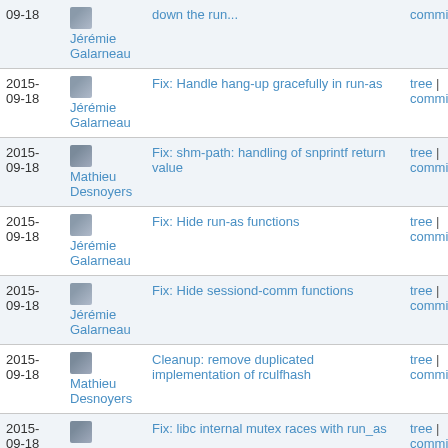| Date | Author | Message | Links |
| --- | --- | --- | --- |
| 2015-09-18 | Jérémie Galarneau | down the run... | commitdiff |
| 2015-09-18 | Jérémie Galarneau | Fix: Handle hang-up gracefully in run-as | tree | commitdiff |
| 2015-09-18 | Mathieu Desnoyers | Fix: shm-path: handling of snprintf return value | tree | commitdiff |
| 2015-09-18 | Jérémie Galarneau | Fix: Hide run-as functions | tree | commitdiff |
| 2015-09-18 | Jérémie Galarneau | Fix: Hide sessiond-comm functions | tree | commitdiff |
| 2015-09-18 | Mathieu Desnoyers | Cleanup: remove duplicated implementation of rculfhash | tree | commitdiff |
| 2015-09-18 | Mathieu Desnoyers | Fix: libc internal mutex races with run_as | tree | commitdiff |